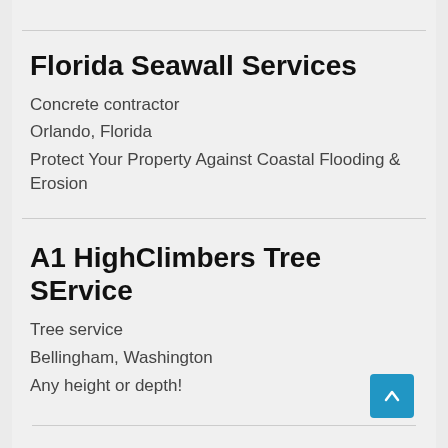Florida Seawall Services
Concrete contractor
Orlando, Florida
Protect Your Property Against Coastal Flooding & Erosion
A1 HighClimbers Tree SErvice
Tree service
Bellingham, Washington
Any height or depth!